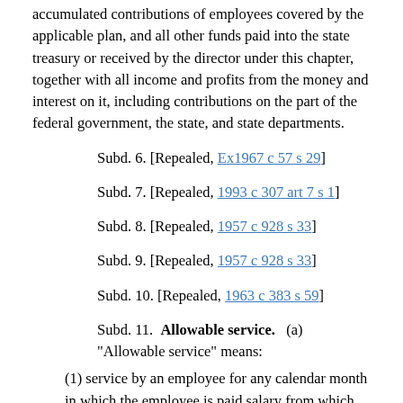accumulated contributions of employees covered by the applicable plan, and all other funds paid into the state treasury or received by the director under this chapter, together with all income and profits from the money and interest on it, including contributions on the part of the federal government, the state, and state departments.
Subd. 6. [Repealed, Ex1967 c 57 s 29]
Subd. 7. [Repealed, 1993 c 307 art 7 s 1]
Subd. 8. [Repealed, 1957 c 928 s 33]
Subd. 9. [Repealed, 1957 c 928 s 33]
Subd. 10. [Repealed, 1963 c 383 s 59]
Subd. 11. Allowable service. (a) "Allowable service" means:
(1) service by an employee for any calendar month in which the employee is paid salary from which deductions are made, deposited, and credited in the fund, including deductions made, deposited, and credited as provided in section 353.011;